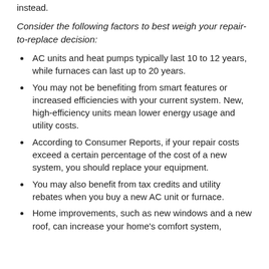instead.
Consider the following factors to best weigh your repair-to-replace decision:
AC units and heat pumps typically last 10 to 12 years, while furnaces can last up to 20 years.
You may not be benefiting from smart features or increased efficiencies with your current system. New, high-efficiency units mean lower energy usage and utility costs.
According to Consumer Reports, if your repair costs exceed a certain percentage of the cost of a new system, you should replace your equipment.
You may also benefit from tax credits and utility rebates when you buy a new AC unit or furnace.
Home improvements, such as new windows and a new roof, can increase your home's comfort system,